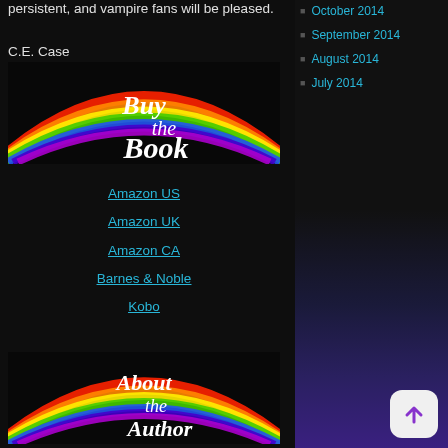persistent, and vampire fans will be pleased.
C.E. Case
[Figure (illustration): Black background image with rainbow arc and cursive white text reading 'Buy the Book']
Amazon US
Amazon UK
Amazon CA
Barnes & Noble
Kobo
[Figure (illustration): Black background image with rainbow arc and cursive white text reading 'About the Author']
October 2014
September 2014
August 2014
July 2014